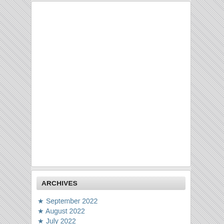[Figure (other): Empty white content box at top of page]
ARCHIVES
September 2022
August 2022
July 2022
June 2022
May 2022
April 2022
CATEGORIES
Uncategorized